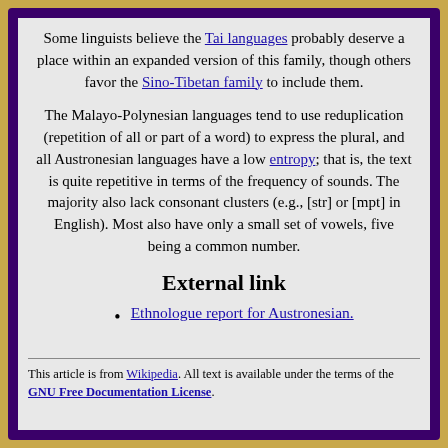Some linguists believe the Tai languages probably deserve a place within an expanded version of this family, though others favor the Sino-Tibetan family to include them.
The Malayo-Polynesian languages tend to use reduplication (repetition of all or part of a word) to express the plural, and all Austronesian languages have a low entropy; that is, the text is quite repetitive in terms of the frequency of sounds. The majority also lack consonant clusters (e.g., [str] or [mpt] in English). Most also have only a small set of vowels, five being a common number.
External link
Ethnologue report for Austronesian.
This article is from Wikipedia. All text is available under the terms of the GNU Free Documentation License.